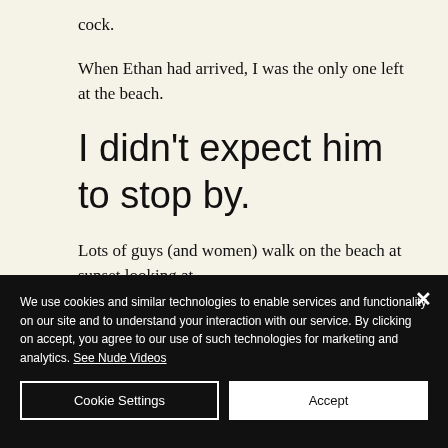cock.
When Ethan had arrived, I was the only one left at the beach.
I didn't expect him to stop by.
Lots of guys (and women) walk on the beach at sunset looking at
We use cookies and similar technologies to enable services and functionality on our site and to understand your interaction with our service. By clicking on accept, you agree to our use of such technologies for marketing and analytics. See Nude Videos
Cookie Settings
Accept